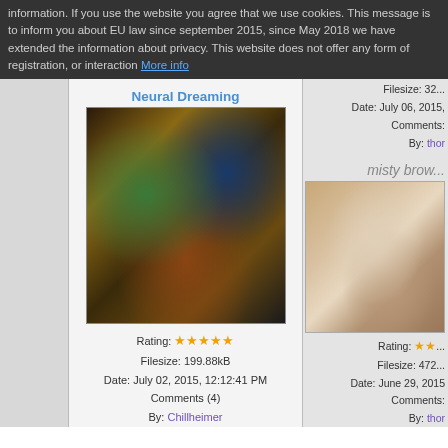information. If you use the website you agree that we use cookies. This message is to inform you about EU law since september 2015, since May 2018 we have extended the information about privacy. This website does not offer any form of registration, or interaction More info
Filesize: 32...
Date: July 06, 2015,
Comments:
By: thor
Neural Dreaming
[Figure (photo): Fractal digital art image with gold, green and dark tones - Neural Dreaming]
Rating: ★★★★★
Filesize: 199.88kB
Date: July 02, 2015, 12:12:41 PM
Comments (4)
By: Chillheimer
misty brow...
[Figure (photo): Fractal digital art image with brown and grey misty tones]
Rating: ★★...
Filesize: 472...
Date: June 29, 2015
Comments:
By: thor